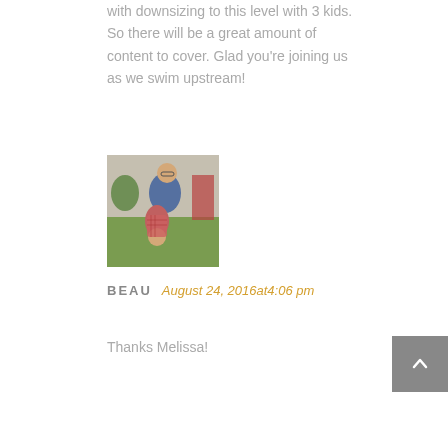with downsizing to this level with 3 kids. So there will be a great amount of content to cover. Glad you're joining us as we swim upstream!
[Figure (photo): Outdoor photo of a man holding a child upside down, both smiling, with green grass and a red structure in the background.]
BEAU   August 24, 2016at4:06 pm
Thanks Melissa!